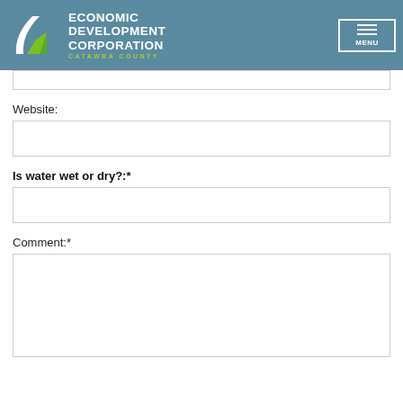[Figure (logo): Economic Development Corporation Catawba County logo with teal background and menu button]
Website:
Is water wet or dry?:*
Comment:*